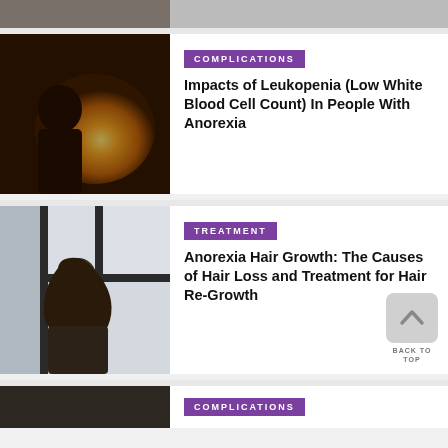[Figure (photo): Partial top strip showing cropped photo of people]
[Figure (photo): Person seen from behind with sunlight, warm sunset tones]
COMPLICATIONS
Impacts of Leukopenia (Low White Blood Cell Count) In People With Anorexia
[Figure (photo): Person from behind looking out window with headphones, dark hair]
TREATMENT
Anorexia Hair Growth: The Causes of Hair Loss and Treatment for Hair Re-Growth
[Figure (photo): Partial bottom strip, dark toned photo]
COMPLICATIONS